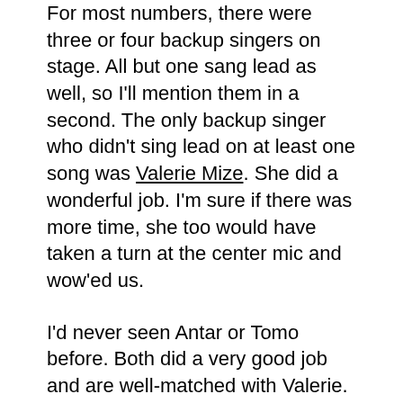For most numbers, there were three or four backup singers on stage. All but one sang lead as well, so I'll mention them in a second. The only backup singer who didn't sing lead on at least one song was Valerie Mize. She did a wonderful job. I'm sure if there was more time, she too would have taken a turn at the center mic and wow'ed us.
I'd never seen Antar or Tomo before. Both did a very good job and are well-matched with Valerie.
[Figure (photo): Two side-by-side concert photos against a red wall. Left photo shows a dark-skinned person performing, with a yellow curtain visible. Right photo shows an Asian man in a white shirt at a drum kit, head bowed.]